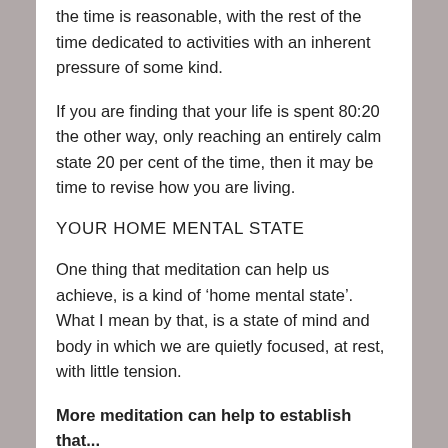the time is reasonable, with the rest of the time dedicated to activities with an inherent pressure of some kind.
If you are finding that your life is spent 80:20 the other way, only reaching an entirely calm state 20 per cent of the time, then it may be time to revise how you are living.
YOUR HOME MENTAL STATE
One thing that meditation can help us achieve, is a kind of ‘home mental state’.  What I mean by that, is a state of mind and body in which we are quietly focused, at rest, with little tension.
More meditation can help to establish that...